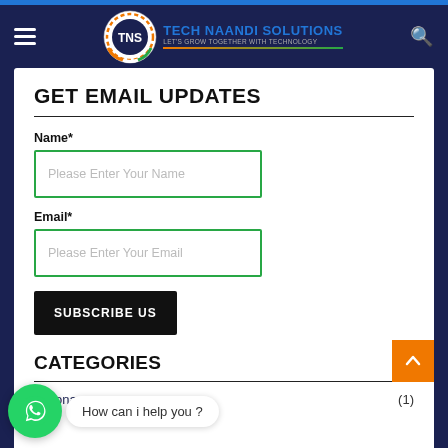[Figure (logo): Tech Naandi Solutions logo with TNS circular badge and tagline 'Let's grow together with technology']
GET EMAIL UPDATES
Name*
Please Enter Your Name
Email*
Please Enter Your Email
SUBSCRIBE US
CATEGORIES
Corona
(1)
How can i help you ?